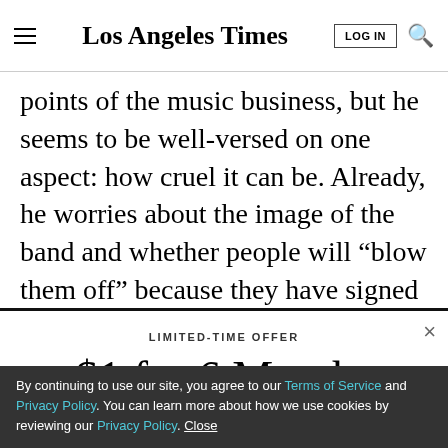Los Angeles Times
points of the music business, but he seems to be well-versed on one aspect: how cruel it can be. Already, he worries about the image of the band and whether people will “blow them off” because they have signed with a major label. A lengthy story about the band and the
LIMITED-TIME OFFER
$1 for 6 Months
SUBSCRIBE NOW
By continuing to use our site, you agree to our Terms of Service and Privacy Policy. You can learn more about how we use cookies by reviewing our Privacy Policy. Close